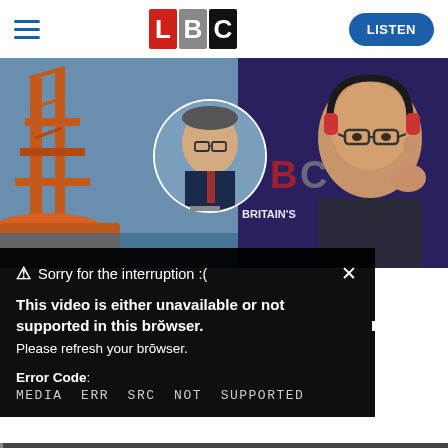[Figure (screenshot): LBC website header with hamburger menu, LBC logo (L in red, B in grey, C in black), and blue LISTEN button]
[Figure (screenshot): LBC video player showing oil rig on the left, circular video call inset of a man in suit with glasses, and LBC presenter with headphones on the right. Partial text 'BRITAIN's ...ION' visible in background.]
Sorry for the interruption :(
This video is either unavailable or not supported in this browser. Please refresh your browser.
Error Code: MEDIA ERR SRC NOT SUPPORTED
Nus Ghani Is